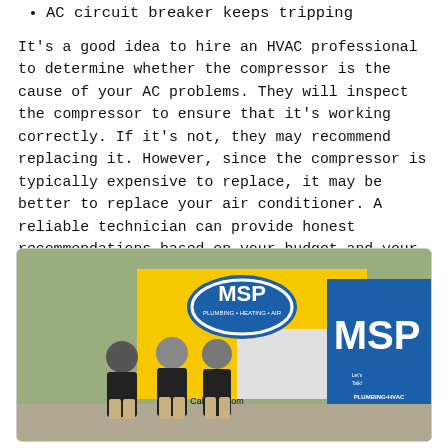AC circuit breaker keeps tripping
It's a good idea to hire an HVAC professional to determine whether the compressor is the cause of your AC problems. They will inspect the compressor to ensure that it's working correctly. If it's not, they may recommend replacing it. However, since the compressor is typically expensive to replace, it may be better to replace your air conditioner. A reliable technician can provide honest recommendations based on your budget and your AC's current condition.
[Figure (photo): Three MSP Plumbing Heating Air technicians in dark uniforms standing in front of a yellow and blue MSP branded service truck. Website callmsp.com visible on truck.]